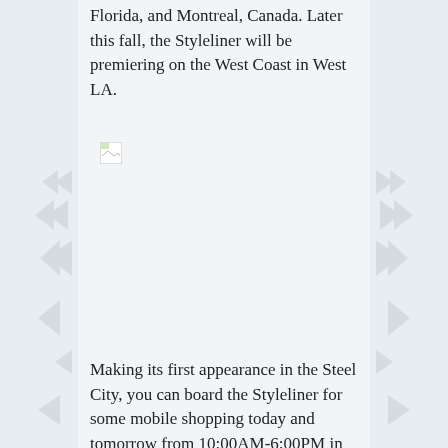Florida, and Montreal, Canada. Later this fall, the Styleliner will be premiering on the West Coast in West LA.
[Figure (photo): Broken/missing image placeholder (small icon with torn page symbol)]
Making its first appearance in the Steel City, you can board the Styleliner for some mobile shopping today and tomorrow from 10:00AM-6:00PM in Bakery Square. So instead of heading to the mall this weekend, don't miss your chance to have a unique shopping experience on the rolling retailer